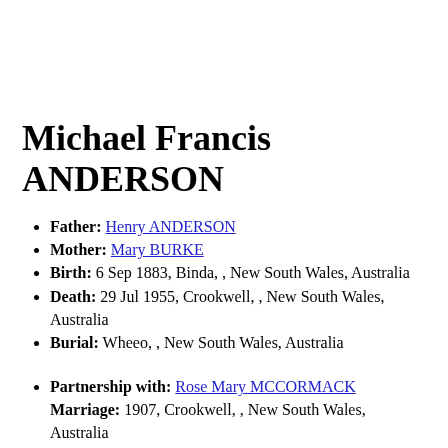Michael Francis ANDERSON
Father: Henry ANDERSON
Mother: Mary BURKE
Birth: 6 Sep 1883, Binda, , New South Wales, Australia
Death: 29 Jul 1955, Crookwell, , New South Wales, Australia
Burial: Wheeo, , New South Wales, Australia
Partnership with: Rose Mary MCCORMACK Marriage: 1907, Crookwell, , New South Wales, Australia Child: Timothy Leslie ANDERSON Birth: 1907